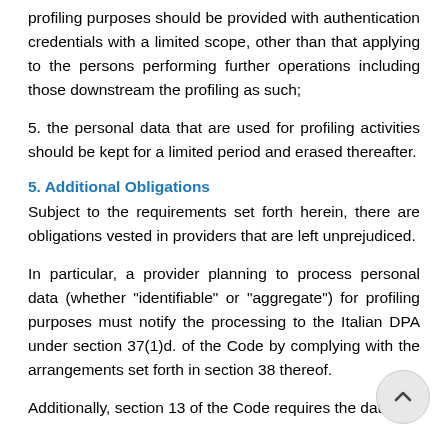profiling purposes should be provided with authentication credentials with a limited scope, other than that applying to the persons performing further operations including those downstream the profiling as such;
5. the personal data that are used for profiling activities should be kept for a limited period and erased thereafter.
5. Additional Obligations
Subject to the requirements set forth herein, there are obligations vested in providers that are left unprejudiced.
In particular, a provider planning to process personal data (whether "identifiable" or "aggregate") for profiling purposes must notify the processing to the Italian DPA under section 37(1)d. of the Code by complying with the arrangements set forth in section 38 thereof.
Additionally, section 13 of the Code requires the data...